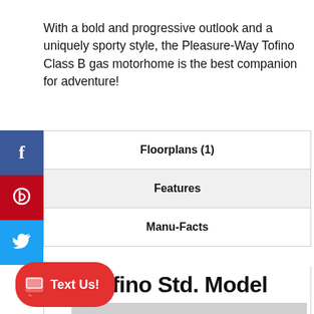With a bold and progressive outlook and a uniquely sporty style, the Pleasure-Way Tofino Class B gas motorhome is the best companion for adventure!
| Floorplans (1) |
| Features |
| Manu-Facts |
Tofino Std. Model
[Figure (photo): Tofino Floorplan image area (partially visible)]
Text Us!